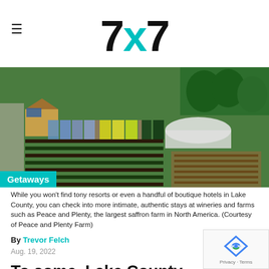7x7
[Figure (photo): Aerial view of Peace and Plenty Farm with colorful crop rows, greenhouse tunnels, a small wooden building, and surrounding greenery]
Getaways
While you won't find tony resorts or even a handful of boutique hotels in Lake County, you can check into more intimate, authentic stays at wineries and farms such as Peace and Plenty, the largest saffron farm in North America. (Courtesy of Peace and Plenty Farm)
By Trevor Felch
Aug. 19, 2022
To some, Lake County is a beloved destination for getting outdoors and drinking wine just north of Napa and Sonoma counties. To others, it is, wait,